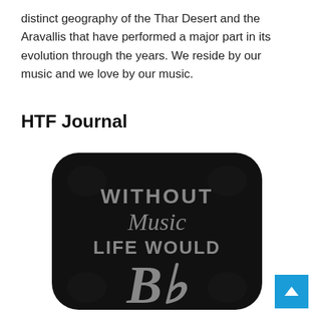distinct geography of the Thar Desert and the Aravallis that have performed a major part in its evolution through the years. We reside by our music and we love by our music.
HTF Journal
[Figure (photo): A black decorative pillow with text reading 'WITHOUT Music LIFE WOULD B♭' in gray/silver lettering, on a white background.]